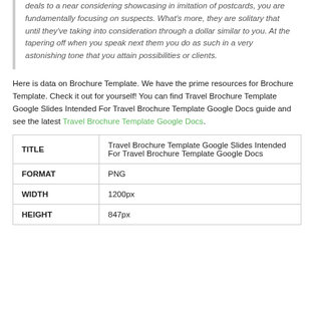deals to a near considering showcasing in imitation of postcards, you are fundamentally focusing on suspects. What's more, they are solitary that until they've taking into consideration through a dollar similar to you. At the tapering off when you speak next them you do as such in a very astonishing tone that you attain possibilities or clients.
Here is data on Brochure Template. We have the prime resources for Brochure Template. Check it out for yourself! You can find Travel Brochure Template Google Slides Intended For Travel Brochure Template Google Docs guide and see the latest Travel Brochure Template Google Docs.
| TITLE | Travel Brochure Template Google Slides Intended For Travel Brochure Template Google Docs |
| --- | --- |
| FORMAT | PNG |
| WIDTH | 1200px |
| HEIGHT | 847px |